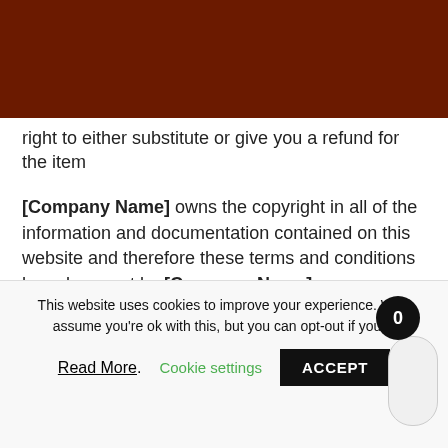right to either substitute or give you a refund for the item
[Company Name] owns the copyright in all of the information and documentation contained on this website and therefore these terms and conditions have been set by [Company Name].
Your use of this website is subject to the terms and conditions that follow. Please read them carefully. By proceeding to browse and use this website you are deemed to have agreed to comply with and be bound by these terms
This website uses cookies to improve your experience. We'll assume you're ok with this, but you can opt-out if you w
Read More. Cookie settings ACCEPT